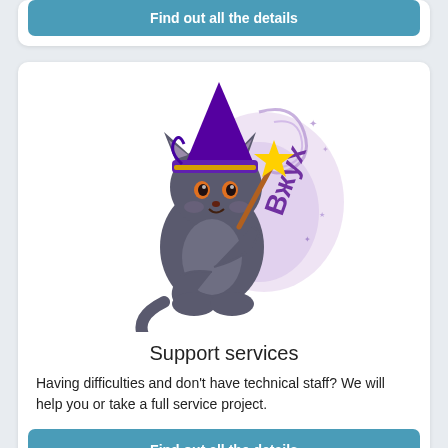Find out all the details
[Figure (illustration): Cartoon wizard cat wearing a purple hat, holding a magic wand with a yellow star, with Cyrillic text 'Вжух' and purple swirl decorations]
Support services
Having difficulties and don't have technical staff? We will help you or take a full service project.
Find out all the details